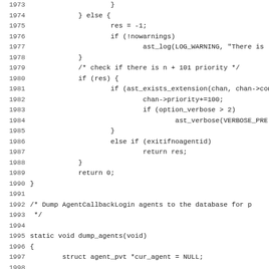[Figure (screenshot): Source code screenshot showing C code lines 1973-2005, including function body with conditional logic, a comment about AgentCallbackLogin agents, and a static void dump_agents(void) function definition.]